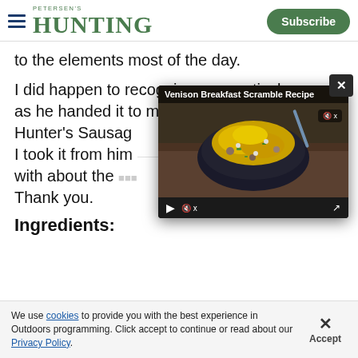PETERSEN'S HUNTING | Subscribe
to the elements most of the day.
I did happen to recognize one particular word as he handed it to me: Jaegerwurst. The Hunter's Sausage. I took it from him, snapped off a bit, and responded with about the ... Thank you.
[Figure (screenshot): Video popup overlay showing 'Venison Breakfast Scramble Recipe' with a thumbnail image of a bowl of food with yellow shredded cheese and vegetables, video controls at bottom, and an X close button]
Ingredients:
We use cookies to provide you with the best experience in Outdoors programming. Click accept to continue or read about our Privacy Policy.